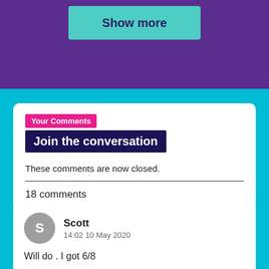[Figure (screenshot): Show more button with teal/turquoise background on purple background]
Your Comments
Join the conversation
These comments are now closed.
18 comments
Scott
14:02 10 May 2020
Will do . I got 6/8